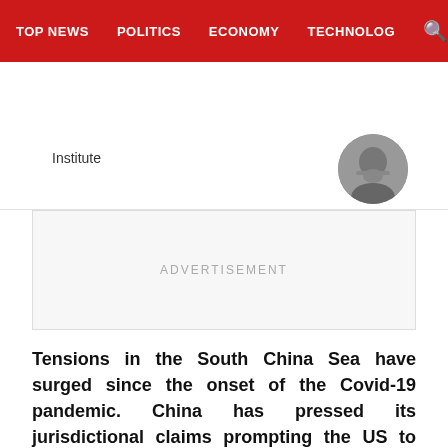TOP NEWS  POLITICS  ECONOMY  TECHNOLOG
Institute
[Figure (photo): Circular author avatar photo showing a man with a beard]
ADVERTISEMENT
Tensions in the South China Sea have surged since the onset of the Covid-19 pandemic. China has pressed its jurisdictional claims prompting the US to increase its criticism of Beijing’s actions and its military presence in the South China Sea. In response to China’s activities, Indonesia, Malaysia, the Philippines and Vietnam have rejected Beijing’s nine-dash line claims and invoked international law and the 2016 Arbitral Tribunal ruling in support of